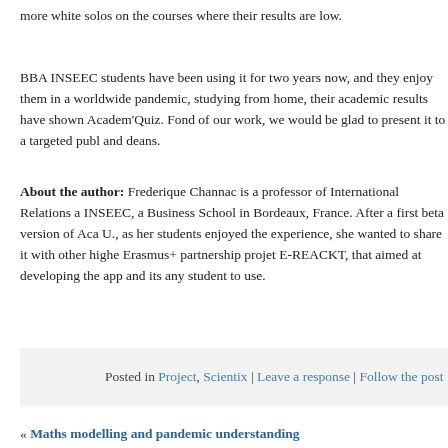more white solos on the courses where their results are low.
BBA INSEEC students have been using it for two years now, and they enjoy them in a worldwide pandemic, studying from home, their academic results have shown Academ'Quiz. Fond of our work, we would be glad to present it to a targeted publ and deans.
About the author: Frederique Channac is a professor of International Relations a INSEEC, a Business School in Bordeaux, France. After a first beta version of Aca U., as her students enjoyed the experience, she wanted to share it with other highe Erasmus+ partnership projet E-REACKT, that aimed at developing the app and its any student to use.
Posted in Project, Scientix | Leave a response | Follow the post
« Maths modelling and pandemic understanding